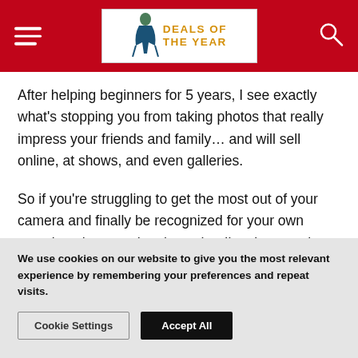DEALS OF THE YEAR
After helping beginners for 5 years, I see exactly what’s stopping you from taking photos that really impress your friends and family… and will sell online, at shows, and even galleries.
So if you’re struggling to get the most out of your camera and finally be recognized for your own amazing photographs, then what I’m about to share will make you extremely happy…
We use cookies on our website to give you the most relevant experience by remembering your preferences and repeat visits.